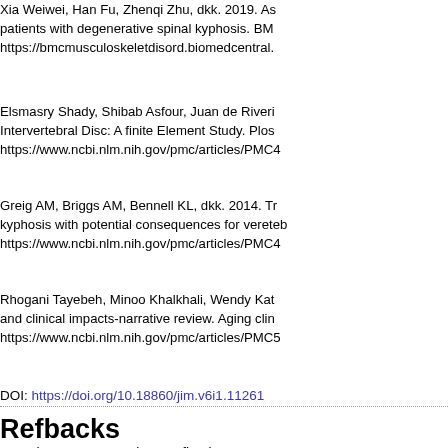Xia Weiwei, Han Fu, Zhenqi Zhu, dkk. 2019. As patients with degenerative spinal kyphosis. BMC https://bmcmusculoskeletdisord.biomedcentral.
Elsmasry Shady, Shibab Asfour, Juan de Riveri Intervertebral Disc: A finite Element Study. Plos https://www.ncbi.nlm.nih.gov/pmc/articles/PMC4
Greig AM, Briggs AM, Bennell KL, dkk. 2014. Tr kyphosis with potential consequences for vereteb https://www.ncbi.nlm.nih.gov/pmc/articles/PMC4
Rhogani Tayebeh, Minoo Khalkhali, Wendy Kat and clinical impacts-narrative review. Aging clin https://www.ncbi.nlm.nih.gov/pmc/articles/PMC5
DOI: https://doi.org/10.18860/jim.v6i1.11261
Refbacks
There are currently no refbacks.
Editorial Office: